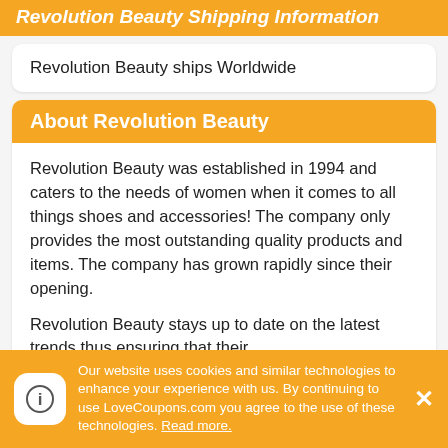Revolution Beauty Shipping Information
Revolution Beauty ships Worldwide
About Revolution Beauty
Revolution Beauty was established in 1994 and caters to the needs of women when it comes to all things shoes and accessories! The company only provides the most outstanding quality products and items. The company has grown rapidly since their opening.
Revolution Beauty stays up to date on the latest trends thus ensuring that their
Our website uses cookies and similar technologies to enhance your experience with us. By continuing to use LoveCoupons.com you agree to the use of these technologies. Read more.